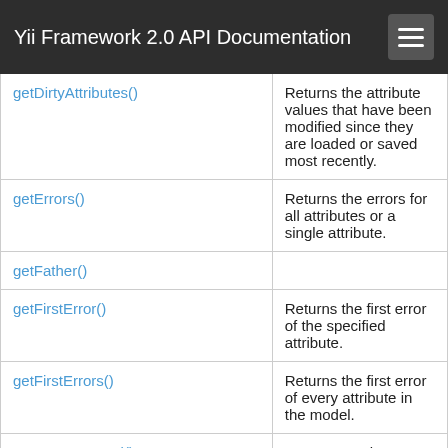Yii Framework 2.0 API Documentation
| Method | Description |
| --- | --- |
| getDirtyAttributes() | Returns the attribute values that have been modified since they are loaded or saved most recently. |
| getErrors() | Returns the errors for all attributes or a single attribute. |
| getFather() |  |
| getFirstError() | Returns the first error of the specified attribute. |
| getFirstErrors() | Returns the first error of every attribute in the model. |
| getIsNewRecord() | Returns a value indicating whether the current reco... |